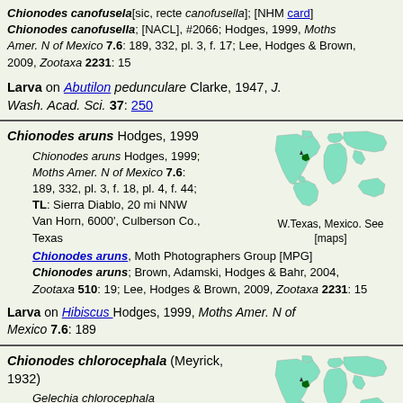Chionodes canofusela[sic, recte canofusella]; [NHM card] Chionodes canofusella; [NACL], #2066; Hodges, 1999, Moths Amer. N of Mexico 7.6: 189, 332, pl. 3, f. 17; Lee, Hodges & Brown, 2009, Zootaxa 2231: 15
Larva on Abutilon pedunculare Clarke, 1947, J. Wash. Acad. Sci. 37: 250
Chionodes aruns Hodges, 1999
Chionodes aruns Hodges, 1999; Moths Amer. N of Mexico 7.6: 189, 332, pl. 3, f. 18, pl. 4, f. 44; TL: Sierra Diablo, 20 mi NNW Van Horn, 6000', Culberson Co., Texas
[Figure (map): World map showing distribution in W.Texas, Mexico]
W.Texas, Mexico. See [maps]
Chionodes aruns, Moth Photographers Group [MPG]
Chionodes aruns; Brown, Adamski, Hodges & Bahr, 2004, Zootaxa 510: 19; Lee, Hodges & Brown, 2009, Zootaxa 2231: 15
Larva on Hibiscus Hodges, 1999, Moths Amer. N of Mexico 7.6: 189
Chionodes chlorocephala (Meyrick, 1932)
Gelechia chlorocephala Meyrick, 1932; Exotic Microlep. 4 (11): 351; TL: Mexico City